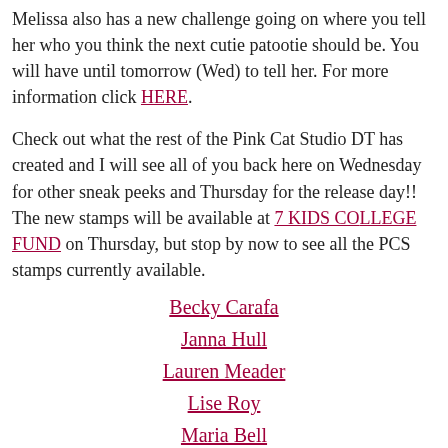Melissa also has a new challenge going on where you tell her who you think the next cutie patootie should be. You will have until tomorrow (Wed) to tell her. For more information click HERE.
Check out what the rest of the Pink Cat Studio DT has created and I will see all of you back here on Wednesday for other sneak peeks and Thursday for the release day!! The new stamps will be available at 7 KIDS COLLEGE FUND on Thursday, but stop by now to see all the PCS stamps currently available.
Becky Carafa
Janna Hull
Lauren Meader
Lise Roy
Maria Bell
Mariska Van der Veer
Nikki Fairbairn
Sarah Anderson
Vicki Garret
Mar 24, 2009 7:14:20 PM | new products, pink cat studio
Comment 0   Reblog It 0